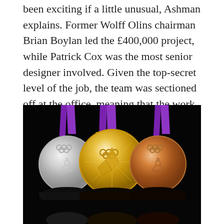been exciting if a little unusual, Ashman explains. Former Wolff Olins chairman Brian Boylan led the £400,000 project, while Patrick Cox was the most senior designer involved. Given the top-secret level of the job, the team was sectioned off at the office, meaning that the work was carried out in isolation.
[Figure (photo): Three London 2012 Olympic medals displayed against a black background. From left to right: silver medal, gold medal (larger, center), and bronze medal. Each medal is suspended from a purple ribbon. The medals show the Olympic rings and engraved designs. The bottom portion of the image shows the back/underside of the medals in dark shadow.]